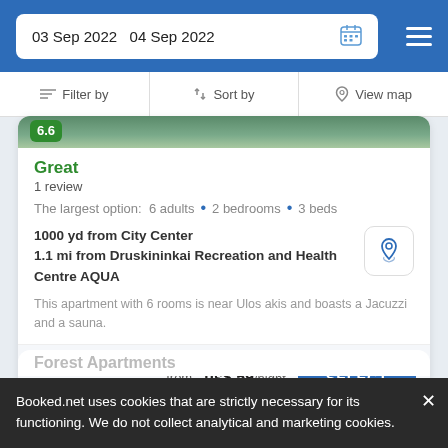03 Sep 2022  04 Sep 2022
Filter by  Sort by  View map
6.6
Great
1 review
The largest option: 6 adults • 2 bedrooms • 3 beds
1000 yd from City Center
1.1 mi from Druskininkai Recreation and Health Centre AQUA
This apartment with 6 rooms is near Ulos akis and boasts a Jacuzzi and a sauna.
from us$ 59/night
Forest Apartments
Booked.net uses cookies that are strictly necessary for its functioning. We do not collect analytical and marketing cookies.